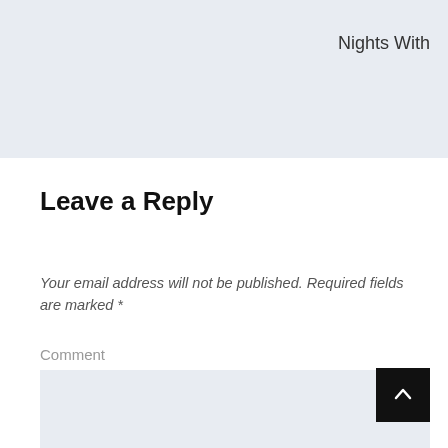Nights With
Leave a Reply
Your email address will not be published. Required fields are marked *
Comment